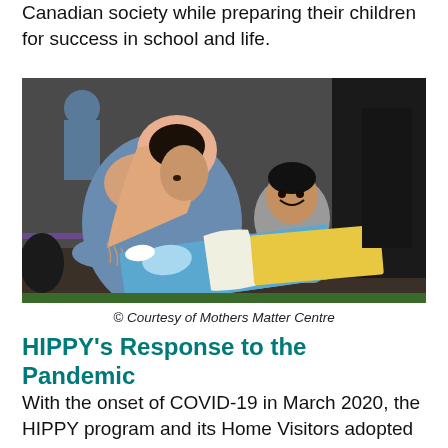Canadian society while preparing their children for success in school and life.
[Figure (photo): A woman wearing a hijab reads a picture book with a young child in a room with other people in the background.]
© Courtesy of Mothers Matter Centre
HIPPY's Response to the Pandemic
With the onset of COVID-19 in March 2020, the HIPPY program and its Home Visitors adopted